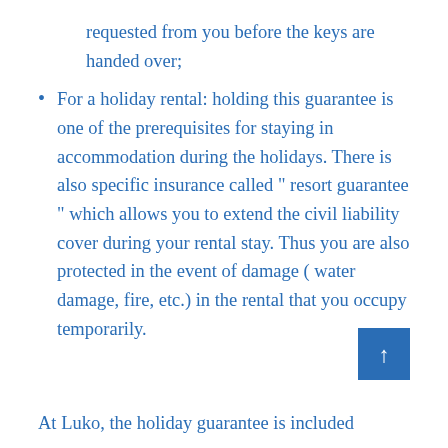requested from you before the keys are handed over;
For a holiday rental: holding this guarantee is one of the prerequisites for staying in accommodation during the holidays. There is also specific insurance called “ resort guarantee ” which allows you to extend the civil liability cover during your rental stay. Thus you are also protected in the event of damage ( water damage, fire, etc.) in the rental that you occupy temporarily.
At Luko, the holiday guarantee is included